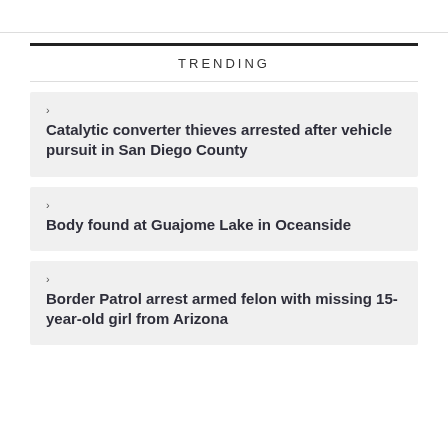TRENDING
Catalytic converter thieves arrested after vehicle pursuit in San Diego County
Body found at Guajome Lake in Oceanside
Border Patrol arrest armed felon with missing 15-year-old girl from Arizona